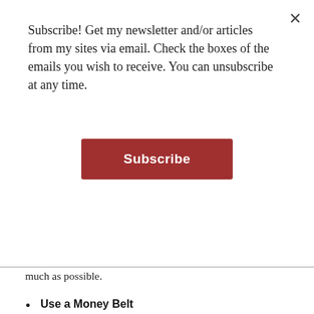Subscribe! Get my newsletter and/or articles from my sites via email. Check the boxes of the emails you wish to receive. You can unsubscribe at any time.
[Figure (other): Red Subscribe button]
much as possible.
Use a Money Belt
This is perhaps the single most important thing you can do to lower the impact of a pickpocket. Use a money belt to keep your passport, extra credit cards and cash safe and out of sight. Keep that day’s cash and a credit card in your day purse/wallet for easy access. If you must get into your money belt, do it in a safe area like a bathroom stall or changing room. Getting into your money belt to make regular purchases is not an effective use of it and